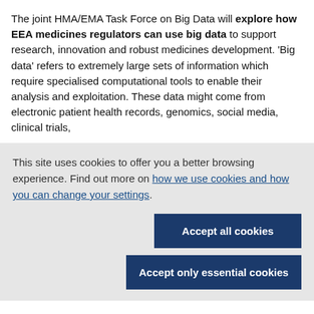The joint HMA/EMA Task Force on Big Data will explore how EEA medicines regulators can use big data to support research, innovation and robust medicines development. 'Big data' refers to extremely large sets of information which require specialised computational tools to enable their analysis and exploitation. These data might come from electronic patient health records, genomics, social media, clinical trials,
This site uses cookies to offer you a better browsing experience. Find out more on how we use cookies and how you can change your settings.
Accept all cookies
Accept only essential cookies